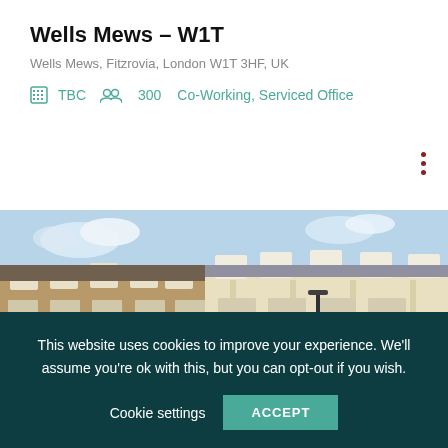Wells Mews – W1T
Wells Mews, Fitzrovia, London W1T 3HF, UK
TBC   300   Co-Working, Serviced Office
[Figure (photo): Exterior photo of a mixed-style London building (Wells Mews) showing brick and cream-painted Victorian/Edwardian facades with dormer windows and garage bays at street level, under a blue sky.]
This website uses cookies to improve your experience. We'll assume you're ok with this, but you can opt-out if you wish.
Cookie settings   ACCEPT